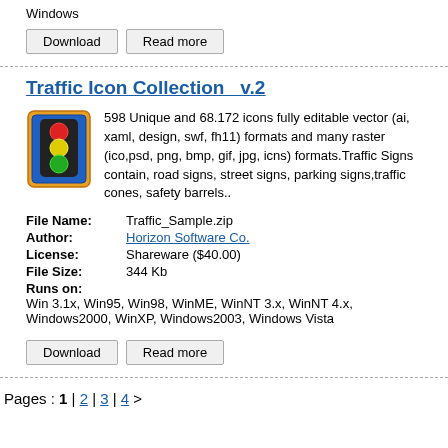Windows
Download | Read more
Traffic Icon Collection  v.2
598 Unique and 68.172 icons fully editable vector (ai, xaml, design, swf, fh11) formats and many raster (ico,psd, png, bmp, gif, jpg, icns) formats.Traffic Signs contain, road signs, street signs, parking signs,traffic cones, safety barrels..
| File Name: | Traffic_Sample.zip |
| Author: | Horizon Software Co. |
| License: | Shareware ($40.00) |
| File Size: | 344 Kb |
| Runs on: | Win 3.1x, Win95, Win98, WinME, WinNT 3.x, WinNT 4.x, Windows2000, WinXP, Windows2003, Windows Vista |
Download | Read more
Pages : 1 | 2 | 3 | 4 >